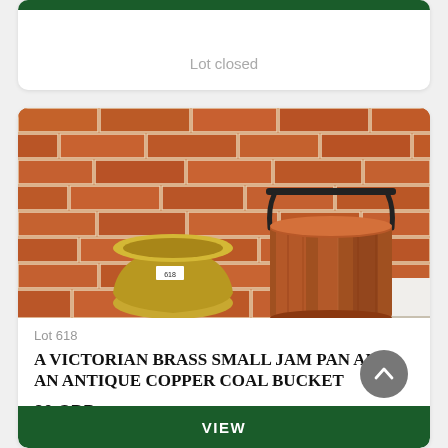Lot closed
[Figure (photo): Photograph of a Victorian brass small jam pan and an antique copper coal bucket against a brick wall background. The jam pan is a small brass bowl with a label '618'. The copper coal bucket is cylindrical with a black handle.]
Lot 618
A VICTORIAN BRASS SMALL JAM PAN AND AN ANTIQUE COPPER COAL BUCKET
20 GBP
Closing bid
VIEW